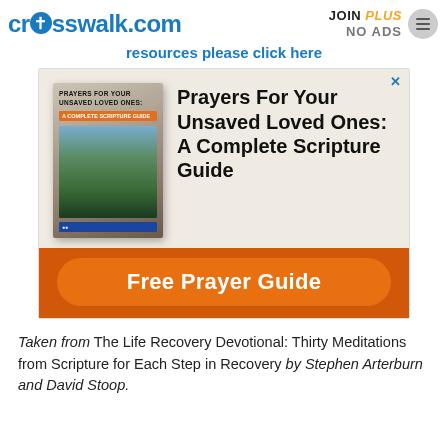crosswalk.com  JOIN PLUS NO ADS
resources please click here
[Figure (screenshot): Advertisement for 'Prayers For Your Unsaved Loved Ones: A Complete Scripture Guide' with a book cover image on the left and title text on the right, and an orange 'Free Prayer Guide' button at the bottom.]
Taken from The Life Recovery Devotional: Thirty Meditations from Scripture for Each Step in Recovery by Stephen Arterburn and David Stoop.